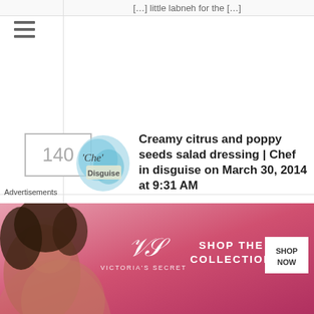[…] little labneh for the […]
[Figure (screenshot): Hamburger menu icon (three horizontal lines) in left sidebar]
140
[Figure (logo): Chef in Disguise blog avatar logo — teal/blue watercolor style with script text]
Creamy citrus and poppy seeds salad dressing | Chef in disguise on March 30, 2014 at 9:31 AM
Reply
Like
[…] vinegar 1 tablespoon (15 ml) (10 gm) (1/3 oz) poppy seeds 1/3 cup (80 ml) sour cream (I usually use labneh for a lighter dressing) 1 teaspoon (5 ml) mustard 1 teaspoon (5 ml) […]
Persian Springtime Stew | Optimal Edibles
Advertisements
[Figure (photo): Victoria's Secret advertisement banner with woman model, VS logo, 'SHOP THE COLLECTION' text and 'SHOP NOW' button]